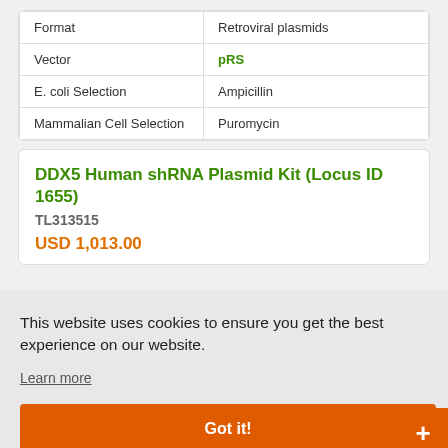|  |  |
| --- | --- |
| Format | Retroviral plasmids |
| Vector | pRS |
| E. coli Selection | Ampicillin |
| Mammalian Cell Selection | Puromycin |
DDX5 Human shRNA Plasmid Kit (Locus ID 1655)
TL313515
USD 1,013.00
This website uses cookies to ensure you get the best experience on our website.
Learn more
Got it!
Live Chat Online